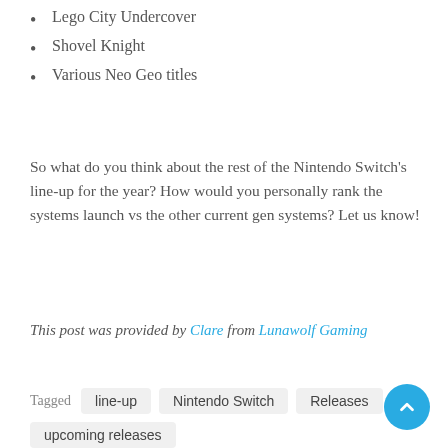Lego City Undercover
Shovel Knight
Various Neo Geo titles
So what do you think about the rest of the Nintendo Switch's line-up for the year? How would you personally rank the systems launch vs the other current gen systems? Let us know!
This post was provided by Clare from Lunawolf Gaming
Tagged  line-up  Nintendo Switch  Releases  upcoming releases